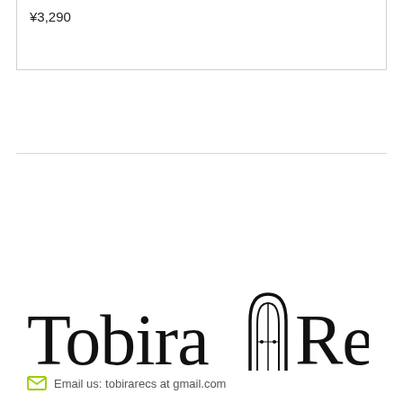¥3,290
[Figure (logo): Tobira Records logo — stylized serif text with a door/arch graphic between the two words]
Email us: tobirarecs at gmail.com